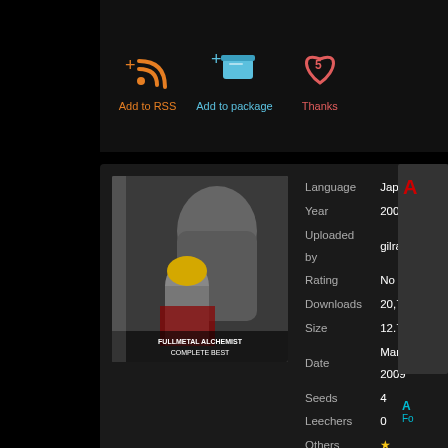[Figure (screenshot): Top action bar with Download torrent (green), Add to RSS (orange), Add to package (blue), Thanks with 5 (red) buttons]
[Figure (photo): Fullmetal Alchemist Complete Best album cover showing armored character and blonde character]
| Field | Value |
| --- | --- |
| Language | Japanese |
| Year | 2004 |
| Uploaded by | gilrael |
| Rating | No |
| Downloads | 20,739 |
| Size | 12.71 MB |
| Date | Mar 25, 2009 |
| Seeds | 4 |
| Leechers | 0 |
| Others | ★ |
Asian Kung-fu Generation
Rewrite (TV)
Opening 4 de Fullmetal Alchemist. Versión corta. Notas acortadas y vídeo de mejor calidad.